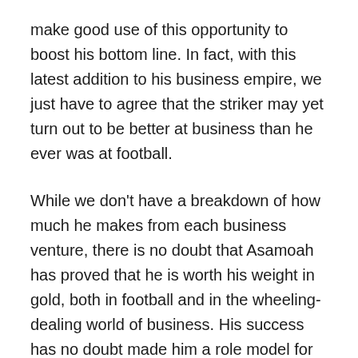make good use of this opportunity to boost his bottom line. In fact, with this latest addition to his business empire, we just have to agree that the striker may yet turn out to be better at business than he ever was at football.
While we don't have a breakdown of how much he makes from each business venture, there is no doubt that Asamoah has proved that he is worth his weight in gold, both in football and in the wheeling-dealing world of business. His success has no doubt made him a role model for the Ghanaian youths who are assiduously aspiring to be like him.
How Does Asamoah Gyan Spend